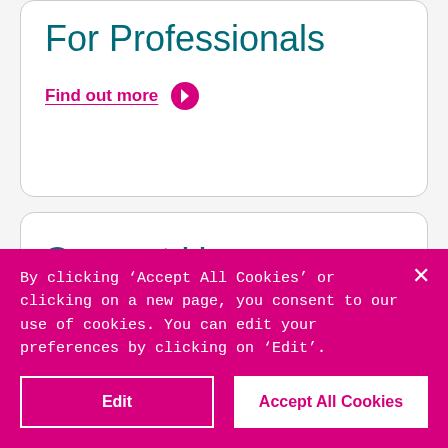For Professionals
Find out more
Support Us
Find out more
Our Campaigns
By clicking ‘Accept All Cookies’ or clicking on a new page, you consent to our use of cookies. You can edit your preferences by clicking on ‘Edit’.
Edit
Accept All Cookies